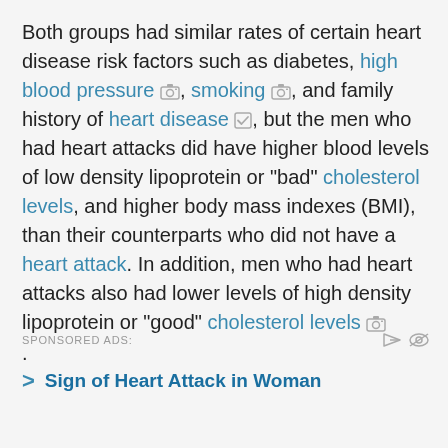Both groups had similar rates of certain heart disease risk factors such as diabetes, high blood pressure, smoking, and family history of heart disease, but the men who had heart attacks did have higher blood levels of low density lipoprotein or "bad" cholesterol levels, and higher body mass indexes (BMI), than their counterparts who did not have a heart attack. In addition, men who had heart attacks also had lower levels of high density lipoprotein or "good" cholesterol levels.
SPONSORED ADS:
Sign of Heart Attack in Woman